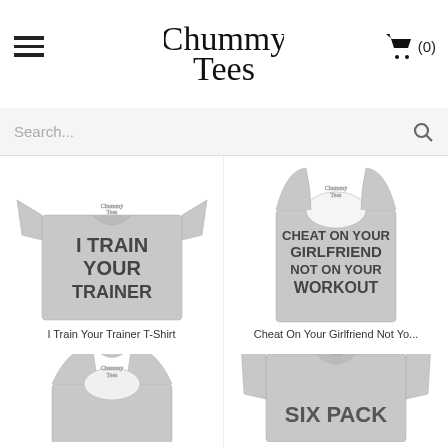Chummy Tees
[Figure (screenshot): Search bar with magnifying glass icon on light gray background]
[Figure (photo): Gray t-shirt with text 'I TRAIN YOUR TRAINER' printed on front]
I Train Your Trainer T-Shirt
[Figure (photo): Gray tank top with text 'CHEAT ON YOUR GIRLFRIEND NOT ON YOUR WORKOUT' printed on front]
Cheat On Your Girlfriend Not Yo...
[Figure (photo): Gray women's racerback tank top, partially visible]
[Figure (photo): Gray t-shirt with text 'SIX PACK' partially visible]